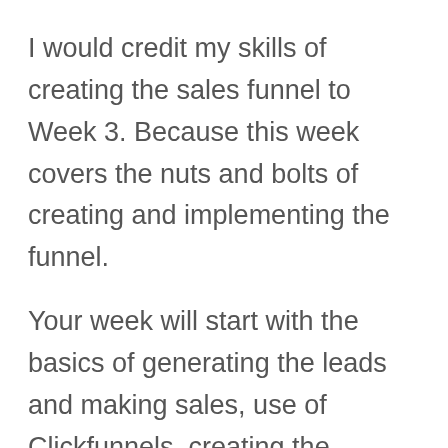I would credit my skills of creating the sales funnel to Week 3. Because this week covers the nuts and bolts of creating and implementing the funnel.
Your week will start with the basics of generating the leads and making sales, use of Clickfunnels, creating the squeeze and OTO page and finally use member’s area once the audience comes flowing in.
Here, you can officially build a sales funnel and gain the confidence to bring the audience from